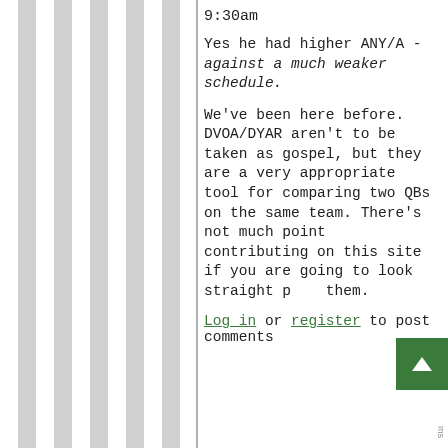9:30am
Yes he had higher ANY/A - against a much weaker schedule.
We've been here before. DVOA/DYAR aren't to be taken as gospel, but they are a very appropriate tool for comparing two QBs on the same team. There's not much point contributing on this site if you are going to look straight past them.
Log in or register to post comments